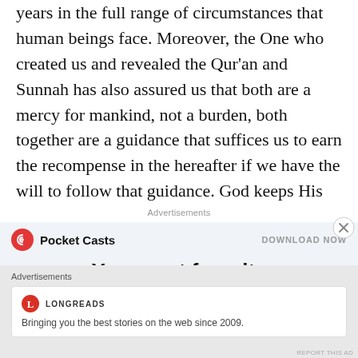years in the full range of circumstances that human beings face. Moreover, the One who created us and revealed the Qur'an and Sunnah has also assured us that both are a mercy for mankind, not a burden, both together are a guidance that suffices us to earn the recompense in the hereafter if we have the will to follow that guidance. God keeps His word; it is we who fail to keep our word to keep our lives in harmony with His Word.
[Figure (screenshot): Pocket Casts advertisement banner: logo with red circular icon, 'Pocket Casts' text, 'DOWNLOAD NOW' on right, large bold headline 'Your next favorite podcast is here.' with decorative blue curved shapes below]
[Figure (screenshot): Longreads advertisement box: red circular 'L' logo, LONGREADS text, tagline 'Bringing you the best stories on the web since 2009.']